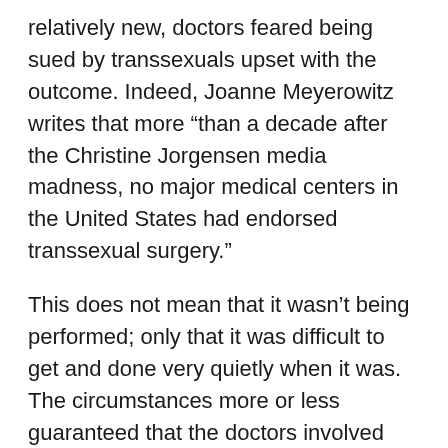relatively new, doctors feared being sued by transsexuals upset with the outcome. Indeed, Joanne Meyerowitz writes that more “than a decade after the Christine Jorgensen media madness, no major medical centers in the United States had endorsed transsexual surgery.”
This does not mean that it wasn’t being performed; only that it was difficult to get and done very quietly when it was. The circumstances more or less guaranteed that the doctors involved would be the types of people who marched to the beat of their own drummer. Meyerowitz lists some of their eccentricities: “…Harry Benjamin was a hair fetishist who found long hair on women sexually arousing. Charles Ihlenfeld later came out as gay.